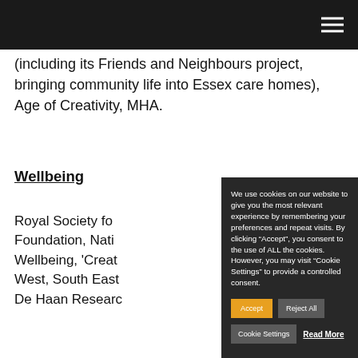(including its Friends and Neighbours project, bringing community life into Essex care homes), Age of Creativity, MHA.
Wellbeing
Royal Society fo... Foundation, Nati... Wellbeing, 'Creat... West, South East... De Haan Researc...
We use cookies on our website to give you the most relevant experience by remembering your preferences and repeat visits. By clicking “Accept”, you consent to the use of ALL the cookies. However, you may visit "Cookie Settings" to provide a controlled consent.